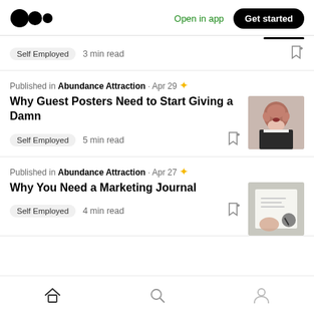Medium logo | Open in app | Get started
Self Employed · 3 min read
Published in Abundance Attraction · Apr 29 ★
Why Guest Posters Need to Start Giving a Damn
Self Employed · 5 min read
Published in Abundance Attraction · Apr 27 ★
Why You Need a Marketing Journal
Self Employed · 4 min read
Home | Search | Profile